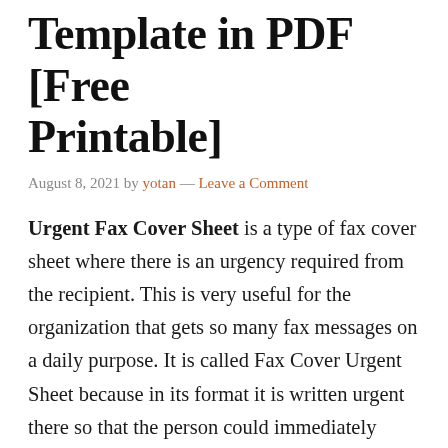Template in PDF [Free Printable]
August 8, 2021 by yotan — Leave a Comment
Urgent Fax Cover Sheet is a type of fax cover sheet where there is an urgency required from the recipient. This is very useful for the organization that gets so many fax messages on a daily purpose. It is called Fax Cover Urgent Sheet because in its format it is written urgent there so that the person could immediately notice it and can-do reply to this fax message fast and on an urgent basis.
Fax Cover Sheet Word